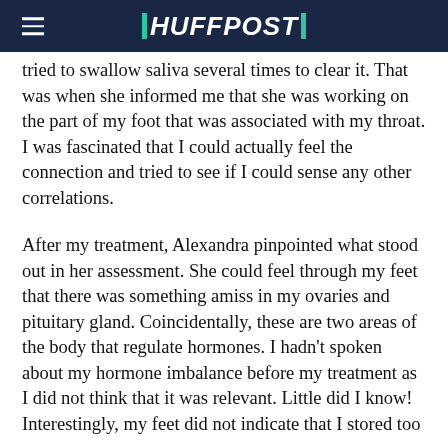HUFFPOST
tried to swallow saliva several times to clear it. That was when she informed me that she was working on the part of my foot that was associated with my throat. I was fascinated that I could actually feel the connection and tried to see if I could sense any other correlations.
After my treatment, Alexandra pinpointed what stood out in her assessment. She could feel through my feet that there was something amiss in my ovaries and pituitary gland. Coincidentally, these are two areas of the body that regulate hormones. I hadn't spoken about my hormone imbalance before my treatment as I did not think that it was relevant. Little did I know! Interestingly, my feet did not indicate that I stored too